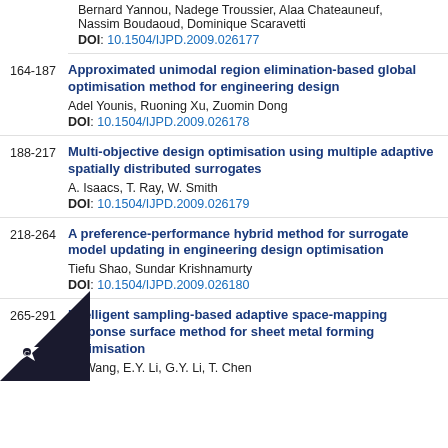Bernard Yannou, Nadege Troussier, Alaa Chateauneuf, Nassim Boudaoud, Dominique Scaravetti
DOI: 10.1504/IJPD.2009.026177
164-187 Approximated unimodal region elimination-based global optimisation method for engineering design
Adel Younis, Ruoning Xu, Zuomin Dong
DOI: 10.1504/IJPD.2009.026178
188-217 Multi-objective design optimisation using multiple adaptive spatially distributed surrogates
A. Isaacs, T. Ray, W. Smith
DOI: 10.1504/IJPD.2009.026179
218-264 A preference-performance hybrid method for surrogate model updating in engineering design optimisation
Tiefu Shao, Sundar Krishnamurty
DOI: 10.1504/IJPD.2009.026180
265-291 Intelligent sampling-based adaptive space-mapping response surface method for sheet metal forming optimisation
H. Wang, E.Y. Li, G.Y. Li, T. Chen